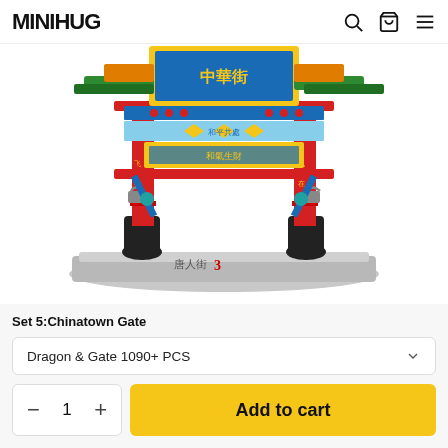MINIHUG
[Figure (photo): A colorful LEGO-style building block model of a traditional Chinese Chinatown gate (paifang/archway) with red pillars, yellow and green decorative elements, Chinese characters, and a gray base with Chinese text.]
Set 5:Chinatown Gate
Dragon & Gate 1090+ PCS
1
Add to cart